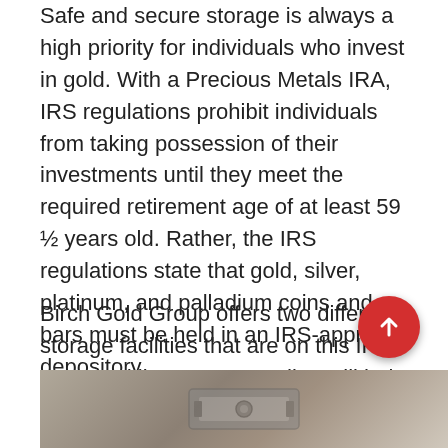Safe and secure storage is always a high priority for individuals who invest in gold. With a Precious Metals IRA, IRS regulations prohibit individuals from taking possession of their investments until they meet the required retirement age of at least 59 ½ years old. Rather, the IRS regulations state that gold, silver, platinum, and palladium coins and bars must be held in an IRS-approved depository.
Birch Gold Group offers two different storage facilities that are on this IRS-approved list. Your custodian will help you select which facility is best for you. The two approved facilities include the Delaware Depository and Brink's Global Services.
[Figure (photo): Partial photograph visible at bottom of page, appears to show a vault or secure storage facility interior, gray-toned image.]